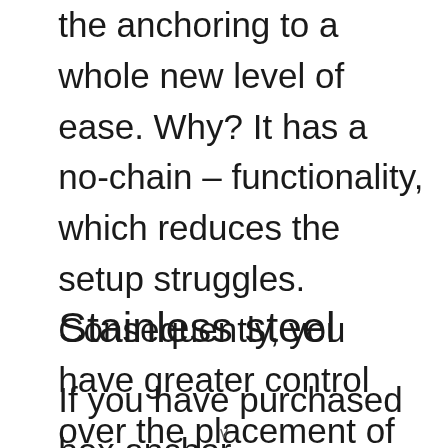the anchoring to a whole new level of ease. Why? It has a no-chain – functionality, which reduces the setup struggles. Consequently, you have greater control over the placement of the side of the boat despite how risky the location is.
Stainless steel
If you have purchased box anchor